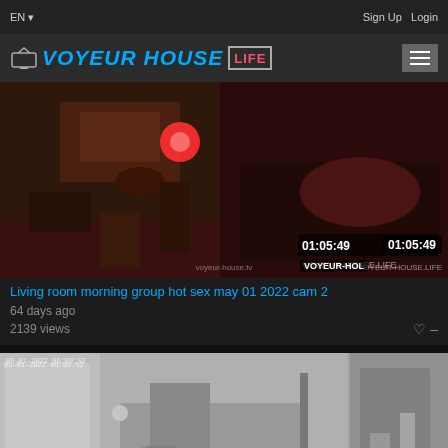EN  Sign Up  Login
[Figure (logo): Voyeur House Life logo with TV icon]
[Figure (screenshot): Video thumbnail showing living room with red lighting, people on couch, duration 01:05:49, watermark voyeur-house.tv and VOYEUR-HOUSE.LIFE]
Living room morning group hot sex may 01 2022 cam 2
64 days ago
2139 views
[Figure (screenshot): Video thumbnail showing bedroom in night vision / black and white, timestamp 05-01-2022 06:09:52]